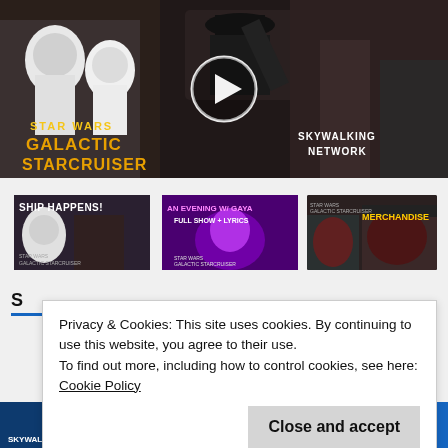[Figure (screenshot): Star Wars Galactic Starcruiser video thumbnail with play button, showing stormtroopers and a performer, with 'STAR WARS GALACTIC STARCRUISER' text and 'SKYWALKING NETWORK' logo]
[Figure (screenshot): Three video thumbnails: 'Ship Happens!' Star Wars Galactic Starcruiser, 'An Evening w/ Gaya Full Show + Lyrics' Star Wars Galactic Starcruiser, and a third Galactic Starcruiser merchandise video]
Privacy & Cookies: This site uses cookies. By continuing to use this website, you agree to their use.
To find out more, including how to control cookies, see here: Cookie Policy
Close and accept
Skywalking Through Neverland: A Star W...